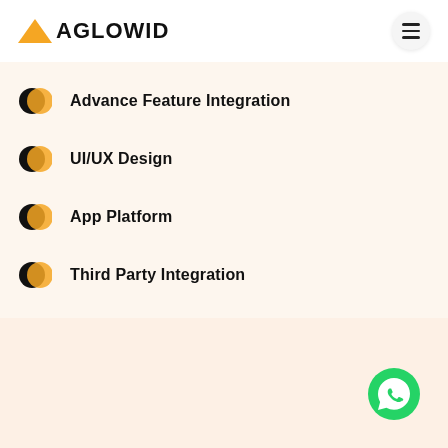[Figure (logo): Aglowid logo with orange triangle and bold text AGLOWID]
Advance Feature Integration
UI/UX Design
App Platform
Third Party Integration
Time to Develop Solution
[Figure (illustration): WhatsApp contact button (green circle with phone icon) in bottom right corner]